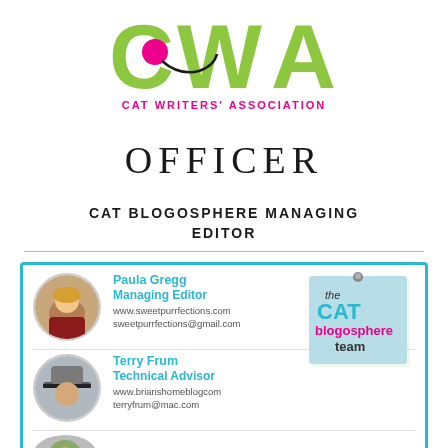[Figure (logo): Cat Writers' Association (CWA) logo with lime green letters and pink dot, with text 'CAT WRITERS' ASSOCIATION' in pink below]
OFFICER
CAT BLOGOSPHERE MANAGING EDITOR
[Figure (infographic): Cat Blogosphere team card with teal border showing headshots and contact info for Paula Gregg (Managing Editor), Terry Frum (Technical Advisor), and partial view of Yvonne Nolchebbendi, with a sticky note graphic reading 'the CAT blogosphere team']